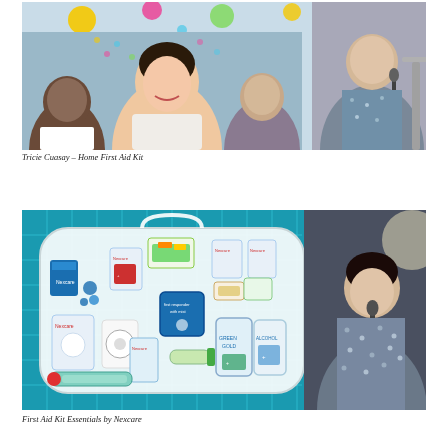[Figure (photo): Event photo showing Tricie Cuasay and other people in front of a colorful backdrop with circular decorative elements. A woman in a patterned dress speaks at a podium on the right side.]
Tricie Cuasay – Home First Aid Kit
[Figure (photo): Presentation photo showing a Nexcare First Aid Kit Essentials display on a teal grid-pattern backdrop, with various Nexcare products illustrated inside a first aid kit case outline. A woman in a patterned dress holds a microphone on the right.]
First Aid Kit Essentials by Nexcare